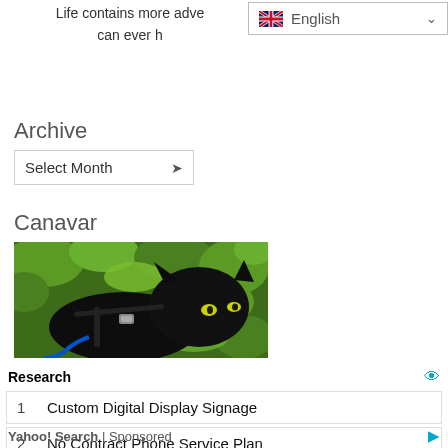Life contains more adve… can ever h…
[Figure (screenshot): Language selector dropdown showing English with UK flag]
Archive
[Figure (screenshot): Select Month dropdown widget]
Canavar
[Figure (photo): Black cat on a harness and leash among green leaves and foliage]
Research
1   Custom Digital Display Signage
2   No Contract Phone Service Plan
Yahoo! Search | Sponsored